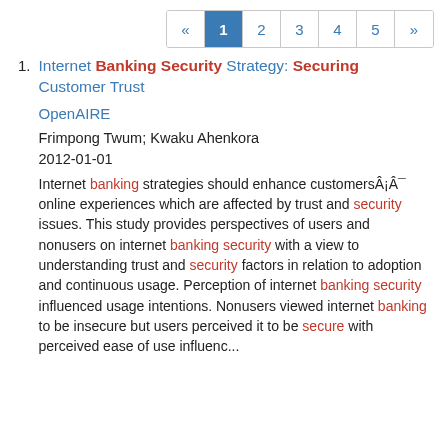« 1 2 3 4 5 »
1. Internet Banking Security Strategy: Securing Customer Trust
OpenAIRE
Frimpong Twum; Kwaku Ahenkora
2012-01-01
Internet banking strategies should enhance customersÂ¡Â¯ online experiences which are affected by trust and security issues. This study provides perspectives of users and nonusers on internet banking security with a view to understanding trust and security factors in relation to adoption and continuous usage. Perception of internet banking security influenced usage intentions. Nonusers viewed internet banking to be insecure but users perceived it to be secure with perceived ease of use influenc...